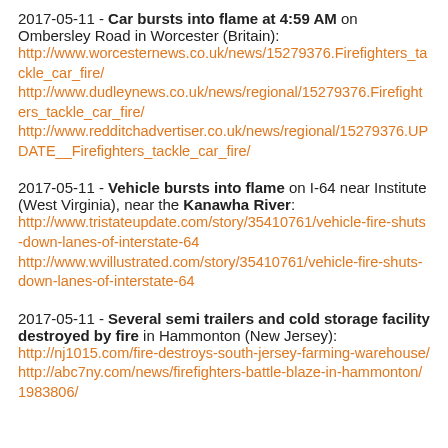2017-05-11 - Car bursts into flame at 4:59 AM on Ombersley Road in Worcester (Britain): http://www.worcesternews.co.uk/news/15279376.Firefighters_tackle_car_fire/ http://www.dudleynews.co.uk/news/regional/15279376.Firefighters_tackle_car_fire/ http://www.redditchadvertiser.co.uk/news/regional/15279376.UPDATE__Firefighters_tackle_car_fire/
2017-05-11 - Vehicle bursts into flame on I-64 near Institute (West Virginia), near the Kanawha River: http://www.tristateupdate.com/story/35410761/vehicle-fire-shuts-down-lanes-of-interstate-64 http://www.wvillustrated.com/story/35410761/vehicle-fire-shuts-down-lanes-of-interstate-64
2017-05-11 - Several semi trailers and cold storage facility destroyed by fire in Hammonton (New Jersey): http://nj1015.com/fire-destroys-south-jersey-farming-warehouse/ http://abc7ny.com/news/firefighters-battle-blaze-in-hammonton/1983806/